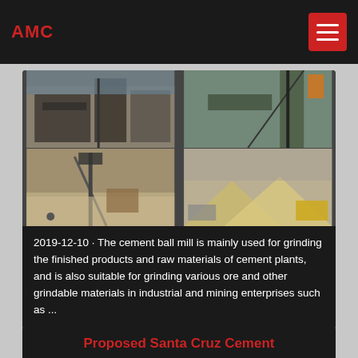AMC
[Figure (photo): Four-panel photo grid showing industrial mining/cement plant equipment: conveyor systems, processing towers, aggregate piles, and earthmoving machinery at a cement/mining facility.]
2019-12-10 · The cement ball mill is mainly used for grinding the finished products and raw materials of cement plants, and is also suitable for grinding various ore and other grindable materials in industrial and mining enterprises such as ...
Proposed Santa Cruz Cement